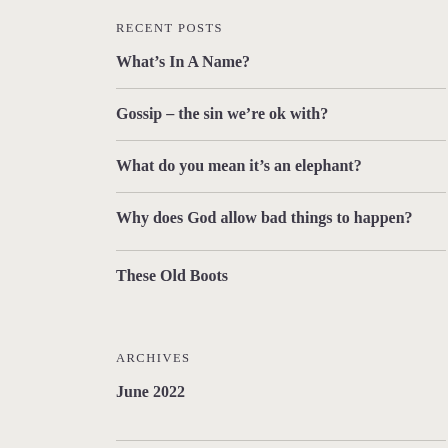RECENT POSTS
What’s In A Name?
Gossip – the sin we’re ok with?
What do you mean it’s an elephant?
Why does God allow bad things to happen?
These Old Boots
ARCHIVES
June 2022